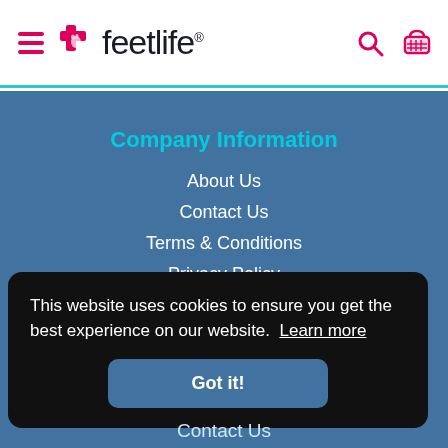feetlife® — navigation header with hamburger menu, logo, search and cart icons
Company Information
About Us
Contact Us
Terms & Conditions
Privacy Policy
This website uses cookies to ensure you get the best experience on our website. Learn more
Got it!
Contact Us